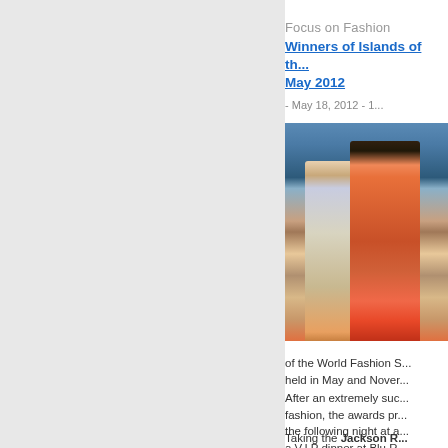Focus on Fashion
Winners of Islands of th... May 2012
- May 18, 2012 - 1...
[Figure (photo): Two people on a fashion show runway. A man in a light blue shirt and khaki pants holding hands with a woman wearing a patterned strapless dress with geometric details and red heels.]
of the World Fashion S... held in May and Nover...
After an extremely suc... fashion, the awards pr... the following night at a... a V.I.P dinner at Blu R...
Taking the Jackson R...